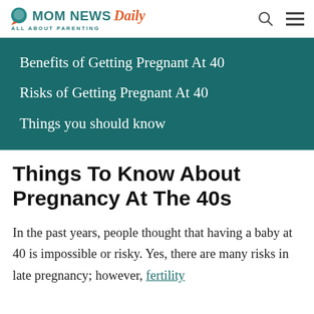MOM NEWS Daily — ALL ABOUT PARENTING
Benefits of Getting Pregnant At 40
Risks of Getting Pregnant At 40
Things you should know
Things To Know About Pregnancy At The 40s
In the past years, people thought that having a baby at 40 is impossible or risky. Yes, there are many risks in late pregnancy; however, fertility